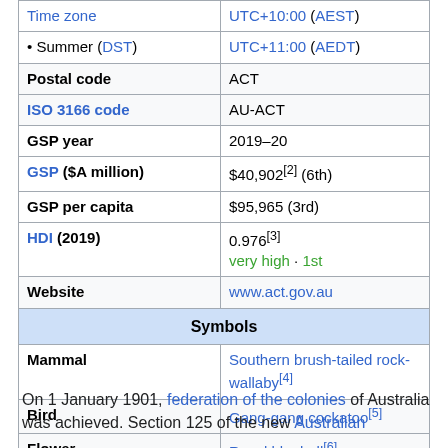| Field | Value |
| --- | --- |
| Time zone | UTC+10:00 (AEST) |
| • Summer (DST) | UTC+11:00 (AEDT) |
| Postal code | ACT |
| ISO 3166 code | AU-ACT |
| GSP year | 2019–20 |
| GSP ($A million) | $40,902[2] (6th) |
| GSP per capita | $95,965 (3rd) |
| HDI (2019) | 0.976[3] very high · 1st |
| Website | www.act.gov.au |
| Symbols |  |
| Mammal | Southern brush-tailed rock-wallaby[4] |
| Bird | Gang-gang cockatoo[5] |
| Flower | Royal bluebell[6] |
| Colour | Blue and gold[7] |
On 1 January 1901, federation of the colonies of Australia was achieved. Section 125 of the new Australian